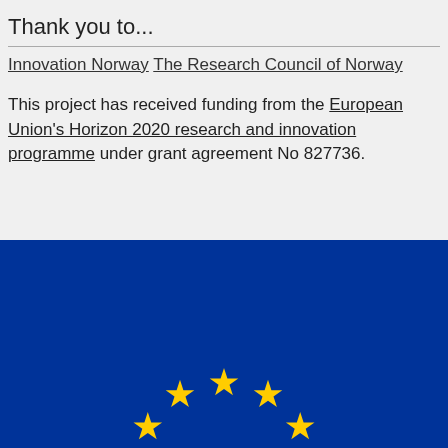Thank you to...
Innovation Norway
The Research Council of Norway
This project has received funding from the European Union's Horizon 2020 research and innovation programme under grant agreement No 827736.
[Figure (illustration): European Union flag — blue background with a circle of 12 gold stars, partially cropped at the bottom of the page]